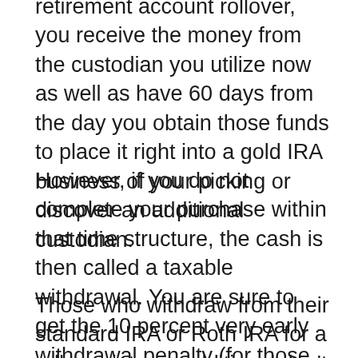retirement account rollover, you receive the money from the custodian you utilize now as well as have 60 days from the day you obtain those funds to place it right into a gold IRA business of your picking or discover an additional custodian.
However, if you do not complete your purchase within that time structure, the cash is then called a taxable withdrawal. You are sure to get the 10 percent very early withdrawal penalty (for those under 59.5 years of ages.).
Those who withdraw from their standard IRA or Roth IRA for a rollover into an additional don't have the tax withholding problem. You're just enabled one rollover each year,